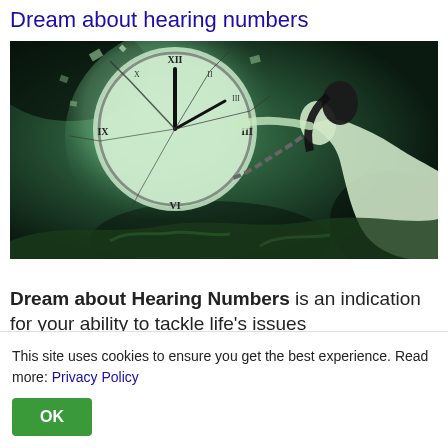Dream about hearing numbers
[Figure (photo): A surreal dark fantasy scene showing a woman in a white flowing dress being pulled by chains toward a large shattering clock face, set against a dark background with green lighting]
Dream about Hearing Numbers is an indication for your ability to tackle life's issues and problems with confidence and…
This site uses cookies to ensure you get the best experience. Read more: Privacy Policy
OK